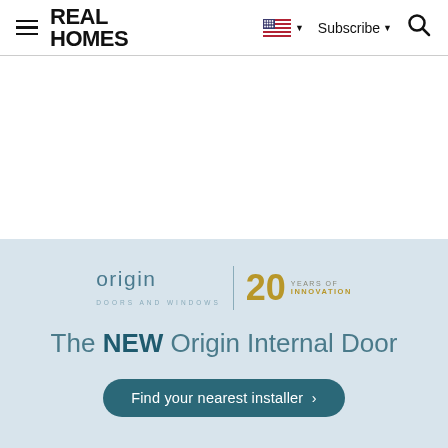REAL HOMES
[Figure (illustration): Origin Doors and Windows logo with '20 Years of Innovation' badge, followed by the text 'The NEW Origin Internal Door' and a 'Find your nearest installer >' button on a light blue-grey background.]